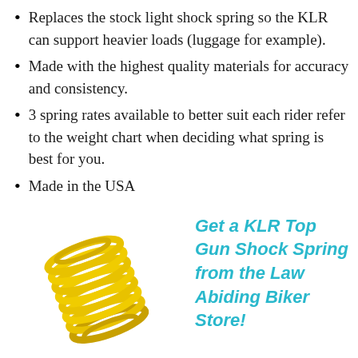Replaces the stock light shock spring so the KLR can support heavier loads (luggage for example).
Made with the highest quality materials for accuracy and consistency.
3 spring rates available to better suit each rider refer to the weight chart when deciding what spring is best for you.
Made in the USA
[Figure (illustration): A yellow coil shock spring photographed at an angle on a white background.]
Get a KLR Top Gun Shock Spring from the Law Abiding Biker Store!